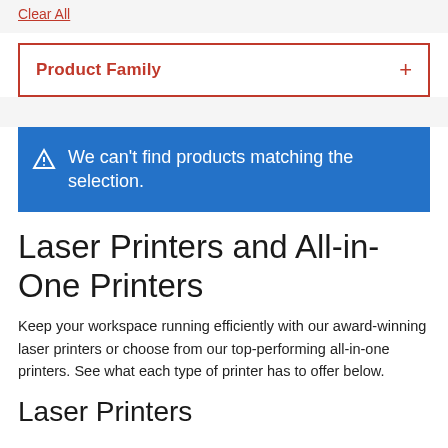Clear All
Product Family
We can't find products matching the selection.
Laser Printers and All-in-One Printers
Keep your workspace running efficiently with our award-winning laser printers or choose from our top-performing all-in-one printers. See what each type of printer has to offer below.
Laser Printers